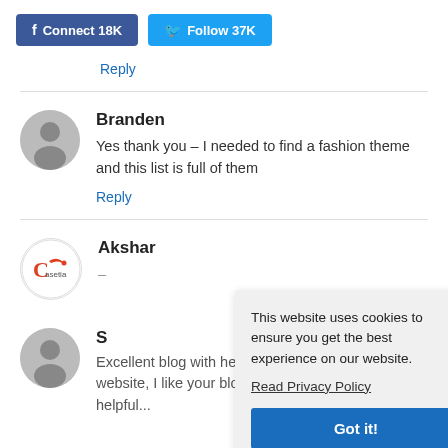[Figure (other): Facebook Connect 18K and Twitter Follow 37K buttons in top bar]
Reply
Branden
Yes thank you – I needed to find a fashion theme and this list is full of them
Reply
Akshar
This website uses cookies to ensure you get the best experience on our website.
Read Privacy Policy
Got it!